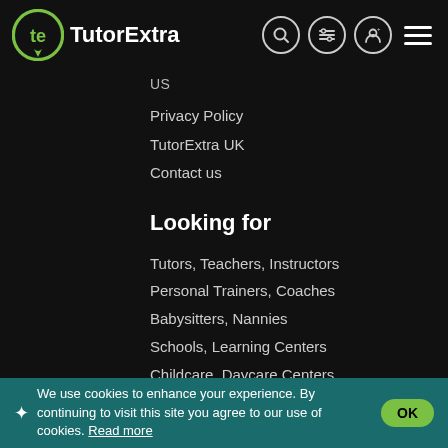[Figure (logo): TutorExtra logo with green circle 'te' icon and white text 'TutorExtra']
US
Privacy Policy
TutorExtra UK
Contact us
Looking for
Tutors, Teachers, Instructors
Personal Trainers, Coaches
Babysitters, Nannies
Schools, Learning Centers
Childcare, Daycare Centers
Sports, Health Centers
Browse All Subjects
Online lessons
Online Tutors
Contacts
We use cookies to enhance your experience. By continuing to visit this site you agree to our use of cookies. Read more OK